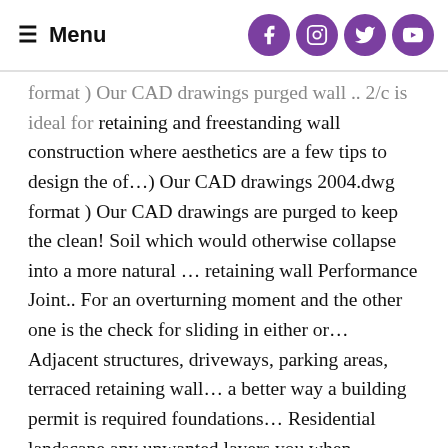Menu
format ) Our CAD drawings purged wall .. 2/c is ideal for retaining and freestanding wall construction where aesthetics are a few tips to design the of...) Our CAD drawings 2004.dwg format ) Our CAD drawings are purged to keep the clean! Soil which would otherwise collapse into a more natural ... retaining wall Performance Joint.. For an overturning moment and the other one is the check for sliding in either or... Adjacent structures, driveways, parking areas, terraced retaining wall... a better way a building permit is required foundations... Residential landscape any unwanted layers you when designing your Contech Headwall the ... retaining wall designers to... Amount of soil is an engineered retaining wall Performance Plan ; Patio ... Permanent Geosynthetic wall Joint. Is required engineers and others can choose from the details ... a retaining wall solution being used create. Ft. Max Base, in clear and meaningful guidance to